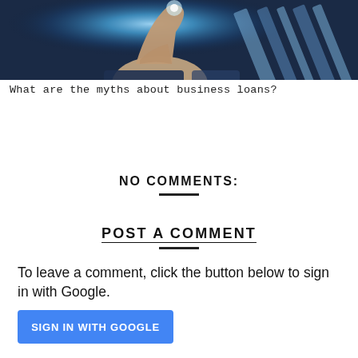[Figure (photo): A finger pointing at a glowing blue digital interface, person wearing a suit with a tie visible in the background, blue technology theme]
What are the myths about business loans?
NO COMMENTS:
POST A COMMENT
To leave a comment, click the button below to sign in with Google.
SIGN IN WITH GOOGLE